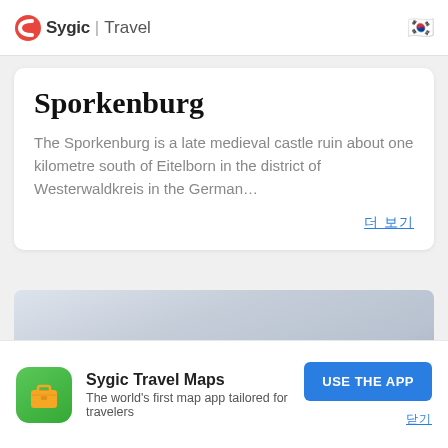Sygic | Travel
Sporkenburg
The Sporkenburg is a late medieval castle ruin about one kilometre south of Eitelborn in the district of Westerwaldkreis in the German…
더 보기 (read more link)
[Figure (photo): Sky/landscape background image strip]
Sygic Travel Maps
The world's first map app tailored for travelers
USE THE APP